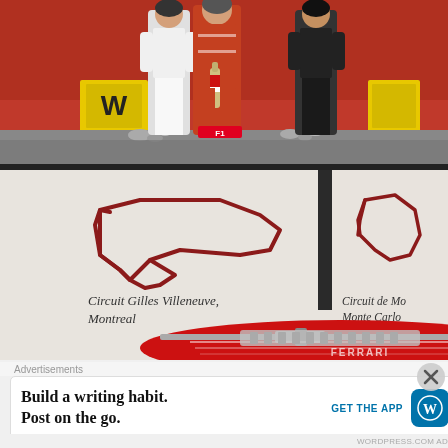[Figure (photo): Top portion: F1 podium scene with a person in orange/red racing suit holding a champagne bottle, flanked by two women in white and black outfits, against a vivid red background with yellow sponsor boards. Bottom portion: An exhibit display showing F1 circuit maps — Circuit Gilles Villeneuve, Montreal (left) and Circuit de Monaco, Monte Carlo (right) — with dark red track outlines on white panels, and a red Ferrari-branded bag or case in the foreground.]
Circuit Gilles Villeneuve, Montreal
Circuit de Monaco, Monte Carlo
Advertisements
Build a writing habit. Post on the go.
GET THE APP